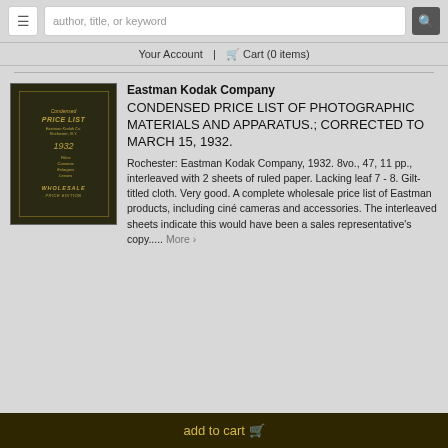author, title, or keyword  Your Account | Cart (0 items)
[Figure (photo): Book cover of Condensed Price List, dark olive/brown cloth with gold border and lettering, 1932, Wholesale Price Edition]
Eastman Kodak Company
CONDENSED PRICE LIST OF PHOTOGRAPHIC MATERIALS AND APPARATUS.; CORRECTED TO MARCH 15, 1932.
Rochester: Eastman Kodak Company, 1932. 8vo., 47, 11 pp., interleaved with 2 sheets of ruled paper. Lacking leaf 7 - 8. Gilt-titled cloth. Very good. A complete wholesale price list of Eastman products, including ciné cameras and accessories. The interleaved sheets indicate this would have been a sales representative's copy..... More ›
add to cart 🛒